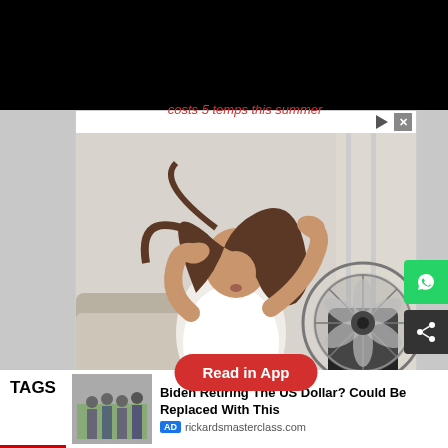[Figure (screenshot): Black navigation bar at top of webpage]
[Figure (screenshot): Advertisement for HomeServe showing a woman sitting in front of a fan with 'Read in App' button overlay and HomeServe 'Get a Plan' footer]
[Figure (screenshot): WhatsApp share button on right side]
[Figure (screenshot): Share icon button on right side]
Biden Retiring The US Dollar? Could Be Replaced With This
rickardsmasterclass.com
TAGS